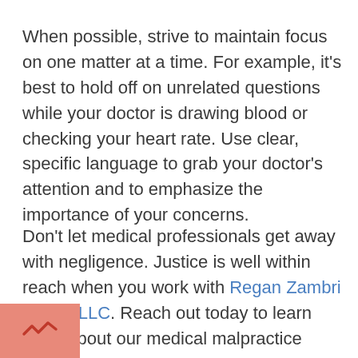When possible, strive to maintain focus on one matter at a time. For example, it's best to hold off on unrelated questions while your doctor is drawing blood or checking your heart rate. Use clear, specific language to grab your doctor's attention and to emphasize the importance of your concerns.
Don't let medical professionals get away with negligence. Justice is well within reach when you work with Regan Zambri Long PLLC. Reach out today to learn more about our medical malpractice services.